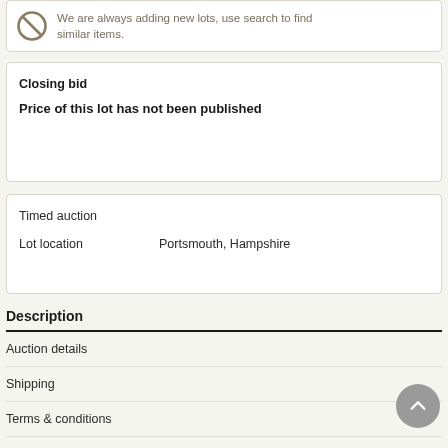We are always adding new lots, use search to find similar items.
Closing bid
Price of this lot has not been published
Timed auction
Lot location	Portsmouth, Hampshire
Description
Auction details
Shipping
Terms & conditions